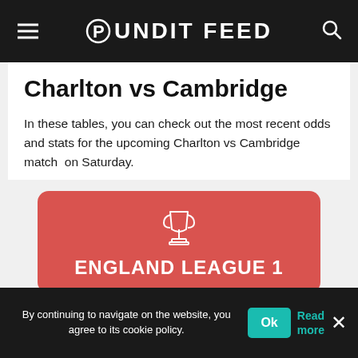Pundit Feed
Charlton vs Cambridge
In these tables, you can check out the most recent odds and stats for the upcoming Charlton vs Cambridge match  on Saturday.
[Figure (infographic): Red card with trophy icon and text ENGLAND LEAGUE 1]
By continuing to navigate on the website, you agree to its cookie policy.